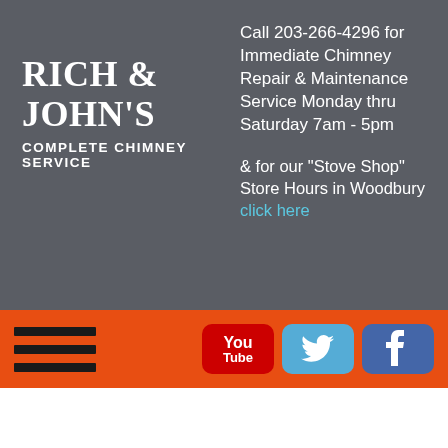RICH & JOHN'S COMPLETE CHIMNEY SERVICE
Call 203-266-4296 for Immediate Chimney Repair & Maintenance Service Monday thru Saturday 7am - 5pm

& for our "Stove Shop" Store Hours in Woodbury click here
[Figure (logo): Orange navigation bar with hamburger menu icon on left and YouTube, Twitter, Facebook social media icons on right]
Landmann: Redford Fireplace